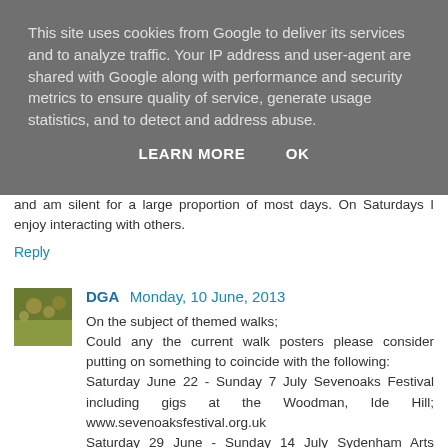This site uses cookies from Google to deliver its services and to analyze traffic. Your IP address and user-agent are shared with Google along with performance and security metrics to ensure quality of service, generate usage statistics, and to detect and address abuse.
LEARN MORE   OK
and am silent for a large proportion of most days. On Saturdays I enjoy interacting with others.
Reply
DGA  Monday, 10 June, 2013
On the subject of themed walks;
Could any the current walk posters please consider putting on something to coincide with the following:
Saturday June 22 - Sunday 7 July Sevenoaks Festival including gigs at the Woodman, Ide Hill; www.sevenoaksfestival.org.uk
Saturday 29 June - Sunday 14 July Sydenham Arts Festival; sydenhamartsfestival.com